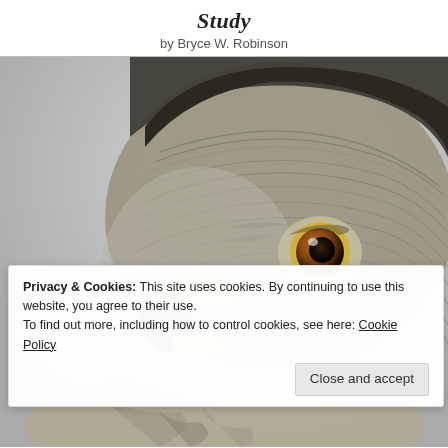Study
by Bryce W. Robinson
[Figure (illustration): Close-up colored pencil illustration of a hawk or falcon face, showing detailed feather texture, yellow cere, dark beak, and amber eye against a light gray background.]
Privacy & Cookies: This site uses cookies. By continuing to use this website, you agree to their use.
To find out more, including how to control cookies, see here: Cookie Policy
Close and accept